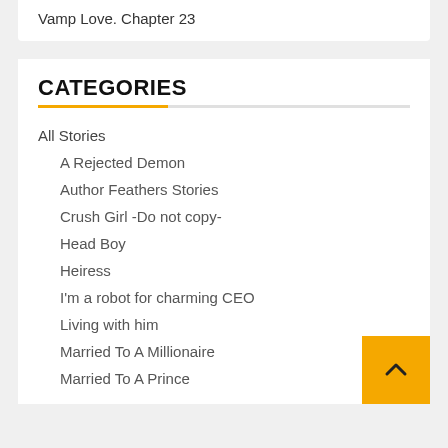Vamp Love. Chapter 23
CATEGORIES
All Stories
A Rejected Demon
Author Feathers Stories
Crush Girl -Do not copy-
Head Boy
Heiress
I'm a robot for charming CEO
Living with him
Married To A Millionaire
Married To A Prince